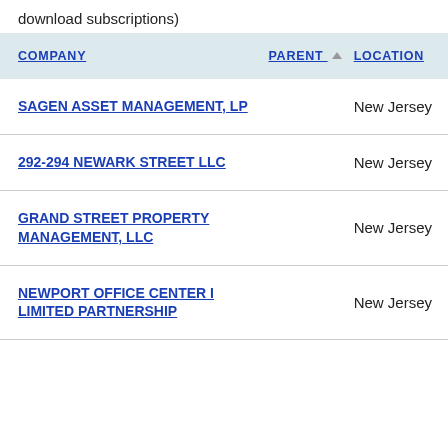download subscriptions)
| COMPANY | PARENT | LOCATION |
| --- | --- | --- |
| SAGEN ASSET MANAGEMENT, LP |  | New Jersey |
| 292-294 NEWARK STREET LLC |  | New Jersey |
| GRAND STREET PROPERTY MANAGEMENT, LLC |  | New Jersey |
| NEWPORT OFFICE CENTER I LIMITED PARTNERSHIP |  | New Jersey |